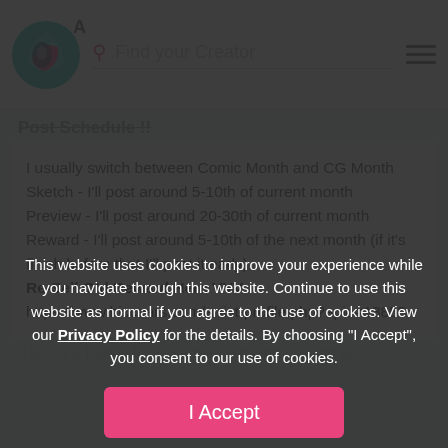A  Find your Creator
Post Schedule !! (partially visible heading)
I usually switch between Comic Month and CG Month
Sketch - I'll post around 5-10th of current month
Preview - I'll post around 20-30th of current month
Reward - I'll post around 5-10th of the next month (if it's finish before that I'll post it early)
Re-Sell Old Reward Here VVV
https://www.hiccears.com/artist-profile.php?apid=13859
If you are Patron for more than 6 month (5$ and above)
This website uses cookies to improve your experience while you navigate through this website. Continue to use this website as normal if you agree to the use of cookies. View our Privacy Policy for the details. By choosing "I Accept", you consent to our use of cookies.
I Accept
Just PM me if u have any question or post it on the post ^_^!!
if u have any sugge... t me know